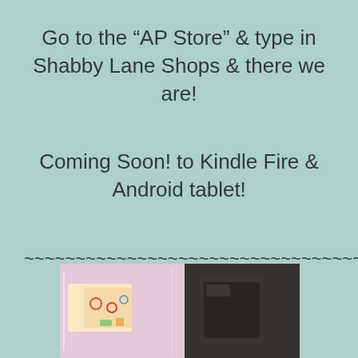Go to the “AP Store” & type in Shabby Lane Shops & there we are!
Coming Soon! to Kindle Fire & Android tablet!
~~~~~~~~~~~~~~~~~~~~~~~~~~~~~~~~~~~~~~~~~~~~~~~~~~~~~~~~~~~~~~~~~~~~~~~~~~~~~~~~~~~~~~~~~~~~~~~~~~~~~~~~~~~~~~~~
[Figure (photo): Two photos side by side: left shows craft supplies/paper items in plastic packaging, right shows a dark background with an object]